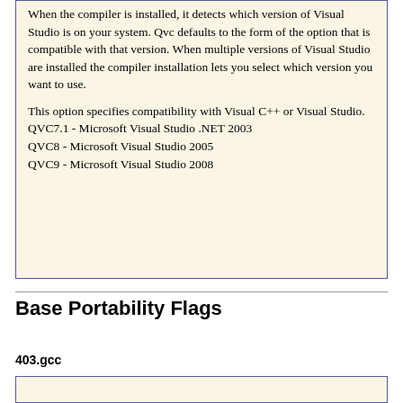When the compiler is installed, it detects which version of Visual Studio is on your system. Qvc defaults to the form of the option that is compatible with that version. When multiple versions of Visual Studio are installed the compiler installation lets you select which version you want to use.

This option specifies compatibility with Visual C++ or Visual Studio.
QVC7.1 - Microsoft Visual Studio .NET 2003
QVC8 - Microsoft Visual Studio 2005
QVC9 - Microsoft Visual Studio 2008
Base Portability Flags
403.gcc